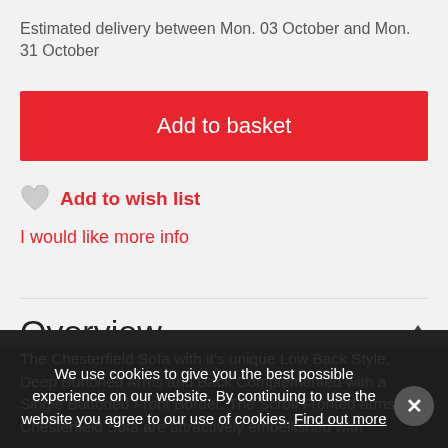Estimated delivery between Mon. 03 October and Mon. 31 October
Add to basket
Add to wish list
I would like more info
Overview
The Chesterfield Sofa with it's unique Low Back Style, Deep Buttoned Arms and Back Complemented with a Single Buttoned Front Border. The Scroll Fronted arms the Chesterfield Sofa are attractively embellished with
We use cookies to give you the best possible experience on our website. By continuing to use the website you agree to our use of cookies. Find out more